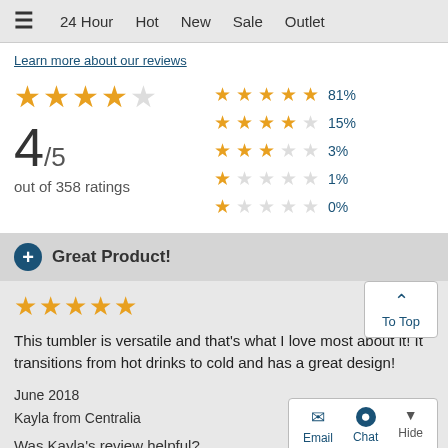≡  24 Hour   Hot   New   Sale   Outlet
Learn more about our reviews
[Figure (infographic): Rating summary showing 4/5 stars out of 358 ratings, with distribution: 81% five-star, 15% four-star, 3% three-star, 1% two-star, 0% one-star]
+ Great Product!
[Figure (infographic): Five orange filled stars rating]
This tumbler is versatile and that's what I love most about it! It transitions from hot drinks to cold and has a great design!
June 2018
Kayla from Centralia
Was Kayla's review helpful?